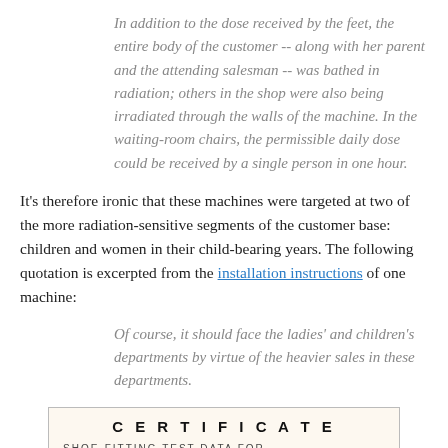In addition to the dose received by the feet, the entire body of the customer -- along with her parent and the attending salesman -- was bathed in radiation; others in the shop were also being irradiated through the walls of the machine. In the waiting-room chairs, the permissible daily dose could be received by a single person in one hour.
It's therefore ironic that these machines were targeted at two of the more radiation-sensitive segments of the customer base: children and women in their child-bearing years. The following quotation is excerpted from the installation instructions of one machine:
Of course, it should face the ladies' and children's departments by virtue of the heavier sales in these departments.
[Figure (other): A certificate form labeled 'CERTIFICATE' with 'SHOE-FITTING TEST DATA FOR' with a blank line, and item '1. ANKLE ROLL' with checkboxes for GOOD, FAIR, POOR]